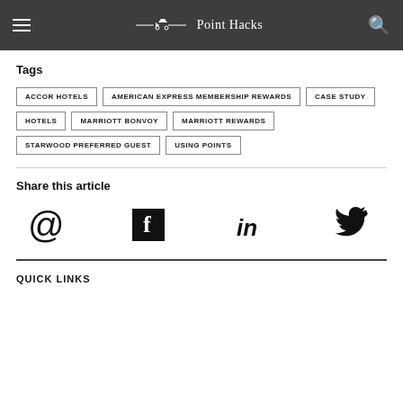Point Hacks
Tags
ACCOR HOTELS
AMERICAN EXPRESS MEMBERSHIP REWARDS
CASE STUDY
HOTELS
MARRIOTT BONVOY
MARRIOTT REWARDS
STARWOOD PREFERRED GUEST
USING POINTS
Share this article
[Figure (infographic): Social share icons: email (@), Facebook (f), LinkedIn (in), Twitter bird]
QUICK LINKS